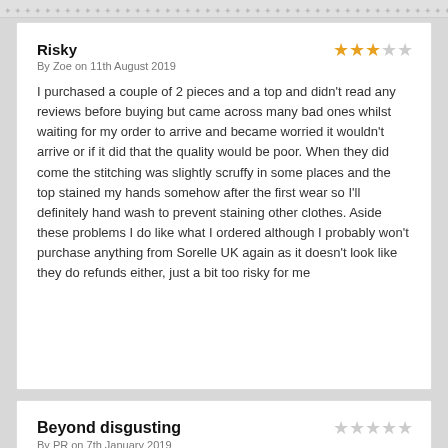* * * * * * * * * * * * * * * * * * * * * * * * * * * * * * * * * * * * * * * * * *
Risky
By Zoe on 11th August 2019
I purchased a couple of 2 pieces and a top and didn't read any reviews before buying but came across many bad ones whilst waiting for my order to arrive and became worried it wouldn't arrive or if it did that the quality would be poor. When they did come the stitching was slightly scruffy in some places and the top stained my hands somehow after the first wear so I'll definitely hand wash to prevent staining other clothes. Aside these problems I do like what I ordered although I probably won't purchase anything from Sorelle UK again as it doesn't look like they do refunds either, just a bit too risky for me
Beyond disgusting
By PR on 7th January 2019
To cut a long story short Sorelle UK are a joke. I don't care about the money they have scammed from me, but I do